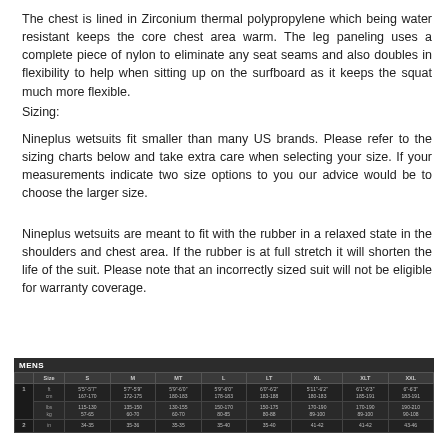The chest is lined in Zirconium thermal polypropylene which being water resistant keeps the core chest area warm. The leg paneling uses a complete piece of nylon to eliminate any seat seams and also doubles in flexibility to help when sitting up on the surfboard as it keeps the squat much more flexible.
Sizing:
Nineplus wetsuits fit smaller than many US brands. Please refer to the sizing charts below and take extra care when selecting your size. If your measurements indicate two size options to you our advice would be to choose the larger size.
Nineplus wetsuits are meant to fit with the rubber in a relaxed state in the shoulders and chest area. If the rubber is at full stretch it will shorten the life of the suit. Please note that an incorrectly sized suit will not be eligible for warranty coverage.
| Size | S | M | MT | L | LT | XL | XLT | XXL |
| --- | --- | --- | --- | --- | --- | --- | --- | --- |
| ft cm | 5'5"-5'7" 167-170 | 5'7"-5'9" 170-175 | 5'9"-6'0" 180-183 | 5'9"-6'0" 175-183 | 6'0"-6'2" 183-188 | 5'11"-6'2" 180-188 | 6'1"-6'3" 185-191 | 6"-6'3" 183-191 |
| lbs kg | 115-130 57-65 | 135-150 60-70 | 130-155 60-70 | 150-170 80-85 | 150-175 80-88 | 170-190 89-100 | 170-190 89-100 | 190-210 90-108 |
| in | 34-36 | 35-35 | 35-35 | 35-40 | 35-40 | 41-42 | 41-42 | 43-46 |